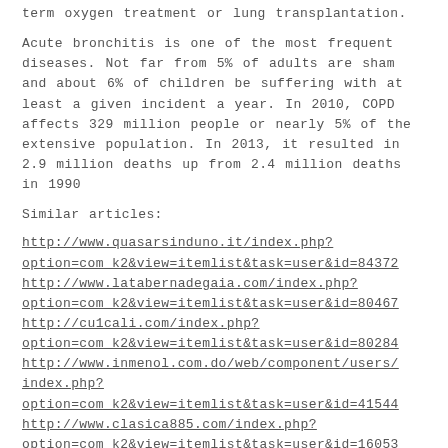term oxygen treatment or lung transplantation.
Acute bronchitis is one of the most frequent diseases. Not far from 5% of adults are sham and about 6% of children be suffering with at least a given incident a year. In 2010, COPD affects 329 million people or nearly 5% of the extensive population. In 2013, it resulted in 2.9 million deaths up from 2.4 million deaths in 1990
Similar articles:
http://www.quasarsinduno.it/index.php?option=com_k2&view=itemlist&task=user&id=84372 http://www.latabernadegaia.com/index.php?option=com_k2&view=itemlist&task=user&id=80467 http://cu1cali.com/index.php?option=com_k2&view=itemlist&task=user&id=80284 http://www.inmenol.com.do/web/component/users/index.php?option=com_k2&view=itemlist&task=user&id=41544 http://www.clasica885.com/index.php?option=com_k2&view=itemlist&task=user&id=160531 http://www.emaus.org.br/riogrande/component/users/index.php?